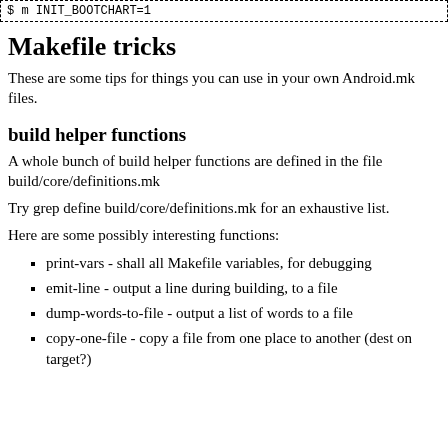[Figure (screenshot): Terminal/code box showing: $ m INIT_BOOTCHART=1]
Makefile tricks
These are some tips for things you can use in your own Android.mk files.
build helper functions
A whole bunch of build helper functions are defined in the file build/core/definitions.mk
Try grep define build/core/definitions.mk for an exhaustive list.
Here are some possibly interesting functions:
print-vars - shall all Makefile variables, for debugging
emit-line - output a line during building, to a file
dump-words-to-file - output a list of words to a file
copy-one-file - copy a file from one place to another (dest on target?)